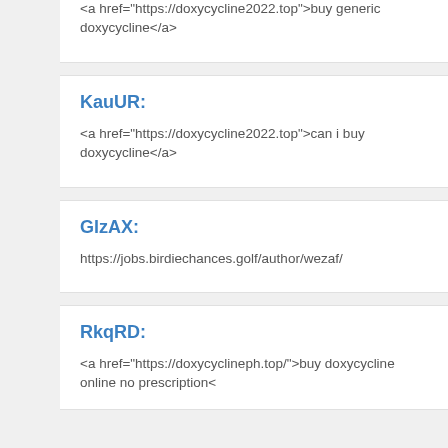<a href="https://doxycycline2022.top">buy generic doxycycline</a>
KauUR:
<a href="https://doxycycline2022.top">can i buy doxycycline</a>
GlzAX:
https://jobs.birdiechances.golf/author/wezaf/
RkqRD:
<a href="https://doxycyclineph.top/">buy doxycycline online no prescription<